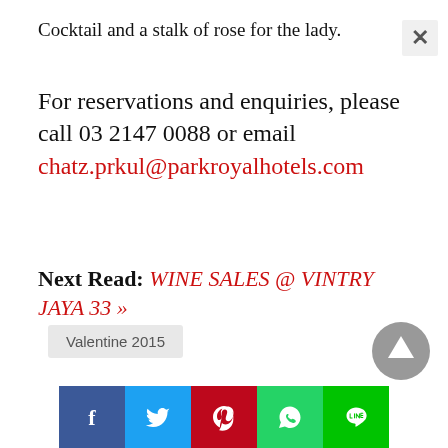Cocktail and a stalk of rose for the lady.
For reservations and enquiries, please call 03 2147 0088 or email chatz.prkul@parkroyalhotels.com
Next Read: WINE SALES @ VINTRY JAYA 33 »
Valentine 2015
[Figure (other): Scroll-to-top circular arrow button (grey)]
[Figure (other): Social sharing bar with Facebook, Twitter, Pinterest, WhatsApp, and LINE buttons]